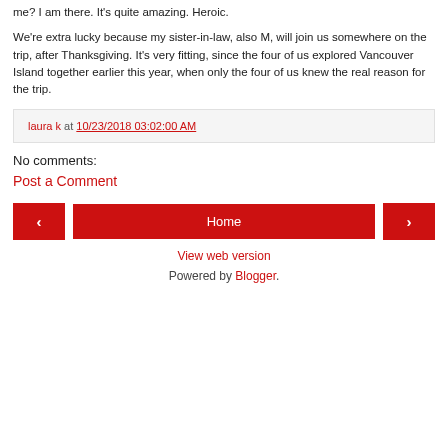me? I am there. It's quite amazing. Heroic.
We're extra lucky because my sister-in-law, also M, will join us somewhere on the trip, after Thanksgiving. It's very fitting, since the four of us explored Vancouver Island together earlier this year, when only the four of us knew the real reason for the trip.
laura k at 10/23/2018 03:02:00 AM
No comments:
Post a Comment
‹
Home
›
View web version
Powered by Blogger.